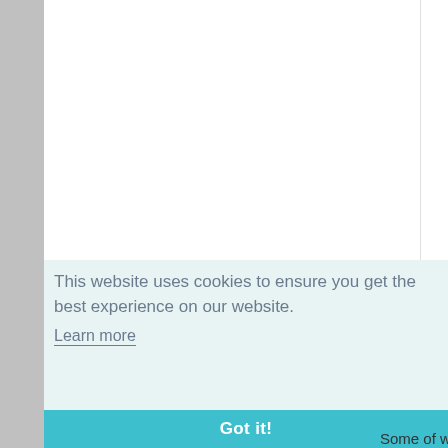This website uses cookies to ensure you get the best experience on our website.
Learn more
Got it!
Some of w